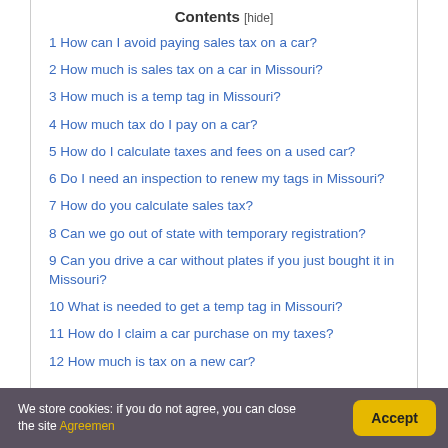Contents [hide]
1 How can I avoid paying sales tax on a car?
2 How much is sales tax on a car in Missouri?
3 How much is a temp tag in Missouri?
4 How much tax do I pay on a car?
5 How do I calculate taxes and fees on a used car?
6 Do I need an inspection to renew my tags in Missouri?
7 How do you calculate sales tax?
8 Can we go out of state with temporary registration?
9 Can you drive a car without plates if you just bought it in Missouri?
10 What is needed to get a temp tag in Missouri?
11 How do I claim a car purchase on my taxes?
12 How much is tax on a new car?
We store cookies: if you do not agree, you can close the site Agreemen